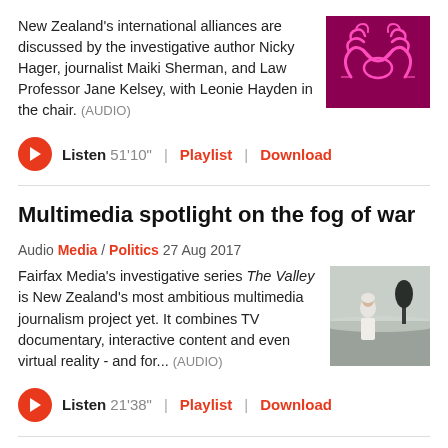New Zealand's international alliances are discussed by the investigative author Nicky Hager, journalist Maiki Sherman, and Law Professor Jane Kelsey, with Leonie Hayden in the chair. (AUDIO)
[Figure (photo): Neon pink handshake illustration on dark magenta/purple background]
Listen 51'10" | Playlist | Download
Multimedia spotlight on the fog of war
Audio Media / Politics 27 Aug 2017
Fairfax Media's investigative series The Valley is New Zealand's most ambitious multimedia journalism project yet. It combines TV documentary, interactive content and even virtual reality - and for... (AUDIO)
[Figure (photo): Woman in white top standing in a barren landscape with a lone tree in misty background]
Listen 21'38" | Playlist | Download